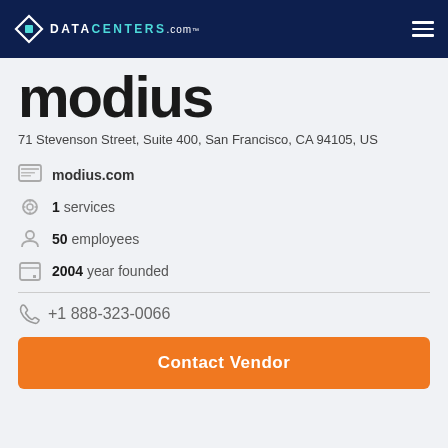DATACENTERS.com
modius
71 Stevenson Street, Suite 400, San Francisco, CA 94105, US
modius.com
1 services
50 employees
2004 year founded
+1 888-323-0066
Contact Vendor